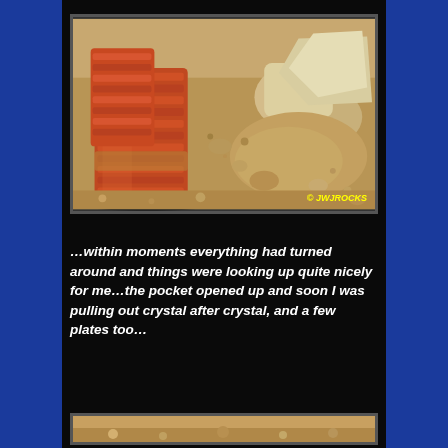[Figure (photo): Close-up photograph of reddish-orange layered mineral crystals (likely crocoite or similar) among sandy gravel and pale rocks on the ground. Watermark reads '© JWJROCKS' in yellow italic text at bottom right.]
…within moments everything had turned around and things were looking up quite nicely for me…the pocket opened up and soon I was pulling out crystal after crystal, and a few plates too…
[Figure (photo): Partial view of a second photograph of minerals/rocks, only the top portion visible at the bottom of the page.]